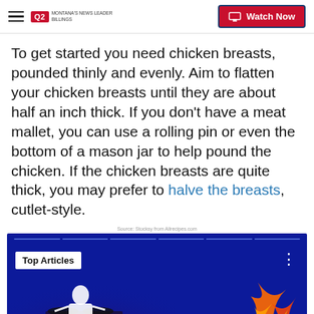Q2 Montana's News Leader Billings — Watch Now
To get started you need chicken breasts, pounded thinly and evenly. Aim to flatten your chicken breasts until they are about half an inch thick. If you don't have a meat mallet, you can use a rolling pin or even the bottom of a mason jar to help pound the chicken. If the chicken breasts are quite thick, you may prefer to halve the breasts, cutlet-style.
Source: Stocksy from Allrecipes.com
[Figure (screenshot): Video thumbnail showing a dark blue background with a DJ silhouette on stage with turntables on the left and fire/flames on the right. A white 'Top Articles' badge is in the upper left. Horizontal progress bar segments are at the top. Three dots menu icon is in the upper right.]